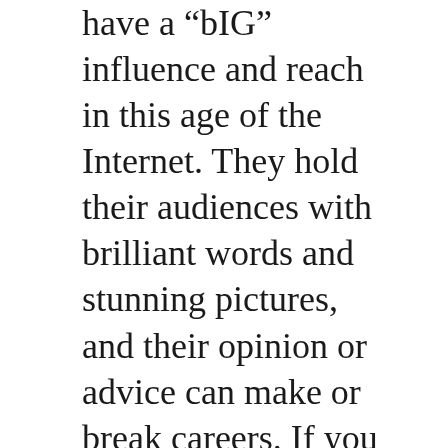have a "bIG" influence and reach in this age of the Internet. They hold their audiences with brilliant words and stunning pictures, and their opinion or advice can make or break careers. If you have thought about using bloggers or journalists to help increase the reach of your MAKEACHAMP crowdfunding campaign, you have been thinking right. The problem is getting the attention of bloggers and getting them to actually write about your campaign. A short blog post and a picture will get you $1200 in 48 hours. A community